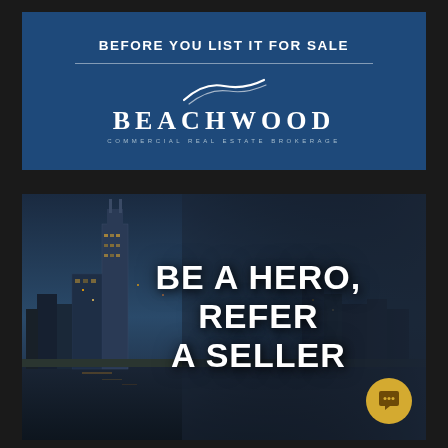BEFORE YOU LIST IT FOR SALE
[Figure (logo): Beachwood Commercial Real Estate Brokerage logo with swoosh graphic above company name]
[Figure (photo): Nashville skyline at night/dusk with city buildings reflected in river, overlaid with large white bold text reading BE A HERO, REFER A SELLER. A gold chat bubble icon appears in the bottom right corner.]